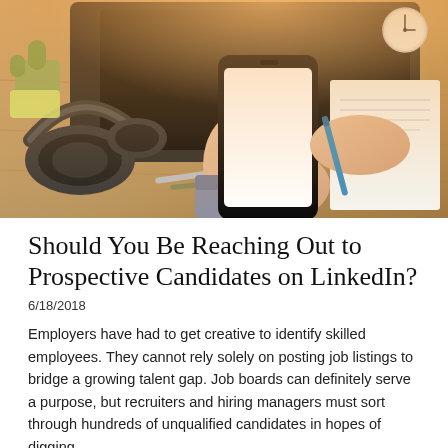[Figure (photo): Overhead view of a person holding a smartphone with a blank white screen, sitting at a wooden desk with a laptop, headphones, pens, a clock, and a notepad. The scene is warmly lit.]
Should You Be Reaching Out to Prospective Candidates on LinkedIn?
6/18/2018
Employers have had to get creative to identify skilled employees. They cannot rely solely on posting job listings to bridge a growing talent gap. Job boards can definitely serve a purpose, but recruiters and hiring managers must sort through hundreds of unqualified candidates in hopes of digging...